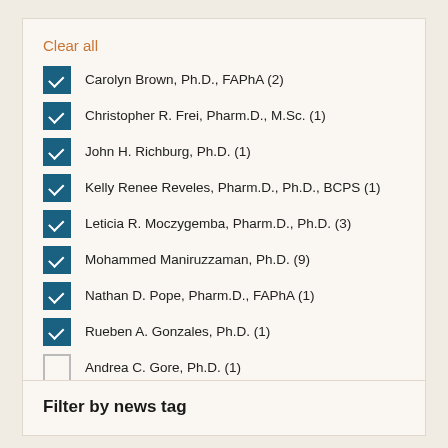Clear all
Carolyn Brown, Ph.D., FAPhA (2)
Christopher R. Frei, Pharm.D., M.Sc. (1)
John H. Richburg, Ph.D. (1)
Kelly Renee Reveles, Pharm.D., Ph.D., BCPS (1)
Leticia R. Moczygemba, Pharm.D., Ph.D. (3)
Mohammed Maniruzzaman, Ph.D. (9)
Nathan D. Pope, Pharm.D., FAPhA (1)
Rueben A. Gonzales, Ph.D. (1)
Andrea C. Gore, Ph.D. (1)
Show more
Filter by news tag